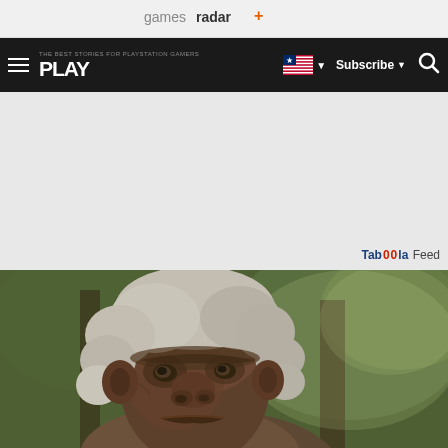gamesradar+
[Figure (screenshot): Navigation bar with hamburger menu, PLAY magazine logo, US flag dropdown, Subscribe dropdown, and search icon on dark background]
Taboola Feed
[Figure (photo): Close-up of an elderly troll or creature character with white hair and rough skin, standing in a forest setting]